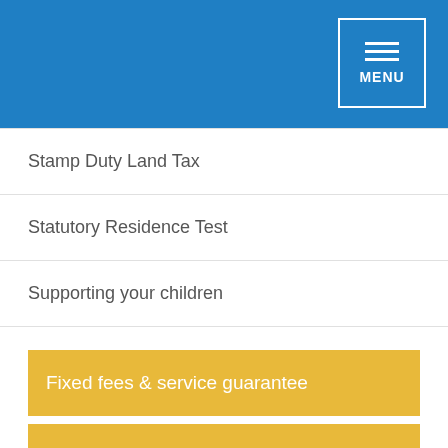MENU
Stamp Duty Land Tax
Statutory Residence Test
Supporting your children
Fixed fees & service guarantee
Adding value to your business
Free initial consultation